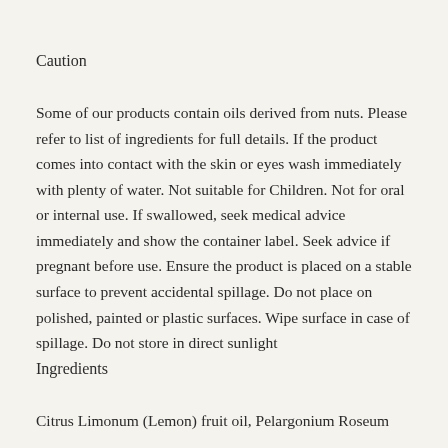Caution
Some of our products contain oils derived from nuts. Please refer to list of ingredients for full details. If the product comes into contact with the skin or eyes wash immediately with plenty of water. Not suitable for Children. Not for oral or internal use. If swallowed, seek medical advice immediately and show the container label. Seek advice if pregnant before use. Ensure the product is placed on a stable surface to prevent accidental spillage. Do not place on polished, painted or plastic surfaces. Wipe surface in case of spillage. Do not store in direct sunlight
Ingredients
Citrus Limonum (Lemon) fruit oil, Pelargonium Roseum